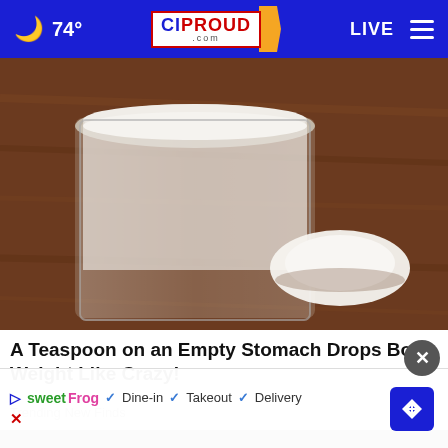🌙 74° | CIProud.com | LIVE
[Figure (photo): A measuring cup or glass container filled with white powder on a wooden table surface, with a small mound of white powder spilled beside it.]
A Teaspoon on an Empty Stomach Drops Body Weight Like Crazy!
Trending New Finds
[Figure (photo): A close-up of a hand holding a chrome/metallic ball or shaker top.]
✓ Dine-in  ✓ Takeout  ✓ Delivery